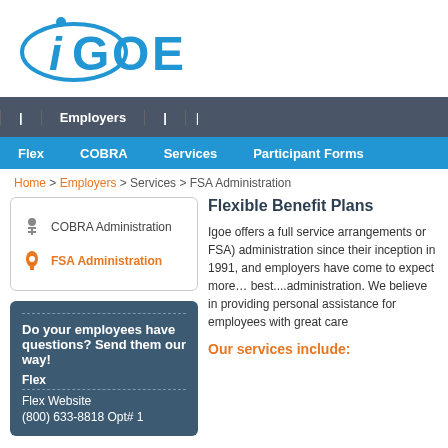[Figure (logo): IGOE company logo in blue with swoosh and dot above the i]
Employers | (nav items cut off)
Flex | COBRA | Services | Participant Forms
Home > Employers > Services > FSA Administration
COBRA Administration
FSA Administration
Do your employees have questions? Send them our way!
Flex
Flex Website
(800) 633-8818 Opt# 1
Flexible Benefit Plans
Igoe offers a full service a... Arrangements or FSA) ad... their inception in 1991, an... have come to expect more... best....administration. We... providing personal assista... employees with great care...
Our services include: